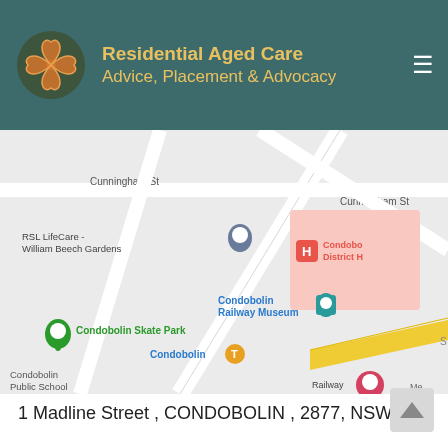[Figure (logo): Residential Aged Care Advice, Placement & Advocacy logo with orange clover/heart icon on dark teal header background]
Residential Aged Care
Advice, Placement & Advocacy
[Figure (map): Google Maps screenshot showing Condobolin area with markers for RSL LifeCare - William Beech Gardens, Condobolin District Hospital (H marker), Condobolin Railway Museum, Condobolin Skate Park, Condobolin (bus/transport marker), Condobolin Public School. Streets shown include Cunningham St. A yellow road runs diagonally at bottom right.]
1 Madline Street , CONDOBOLIN , 2877, NSW